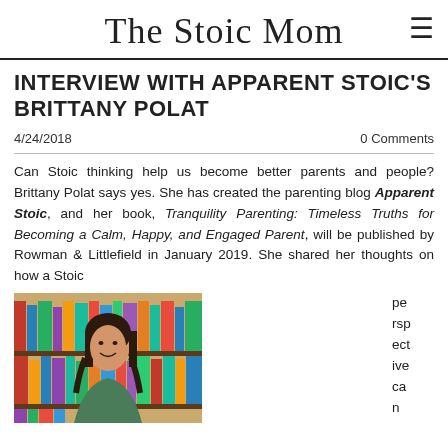The Stoic Mom
INTERVIEW WITH APPARENT STOIC'S BRITTANY POLAT
4/24/2018
0 Comments
Can Stoic thinking help us become better parents and people? Brittany Polat says yes. She has created the parenting blog Apparent Stoic, and her book, Tranquility Parenting: Timeless Truths for Becoming a Calm, Happy, and Engaged Parent, will be published by Rowman & Littlefield in January 2019. She shared her thoughts on how a Stoic perspective can
[Figure (photo): Portrait photo of Brittany Polat in front of a bookshelf filled with colorful books, smiling at the camera]